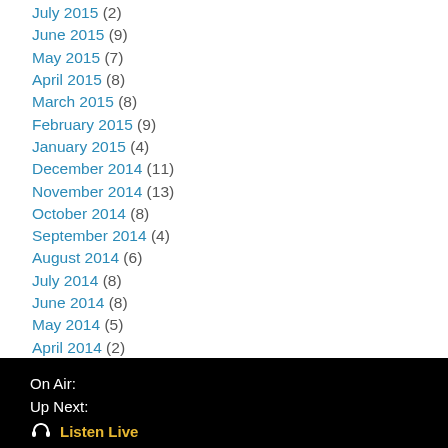July 2015 (2)
June 2015 (9)
May 2015 (7)
April 2015 (8)
March 2015 (8)
February 2015 (9)
January 2015 (4)
December 2014 (11)
November 2014 (13)
October 2014 (8)
September 2014 (4)
August 2014 (6)
July 2014 (8)
June 2014 (8)
May 2014 (5)
April 2014 (2)
March 2014 (9)
On Air:
Up Next:
🎧 Listen Live